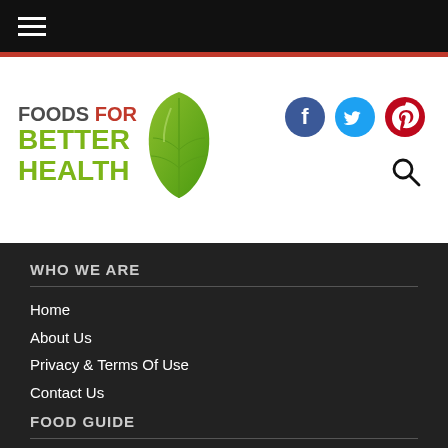Navigation menu (hamburger icon)
[Figure (logo): Foods For Better Health logo with green leaf icon and social media icons (Facebook, Twitter, Pinterest) and search icon]
WHO WE ARE
Home
About Us
Privacy & Terms Of Use
Contact Us
FOOD GUIDE